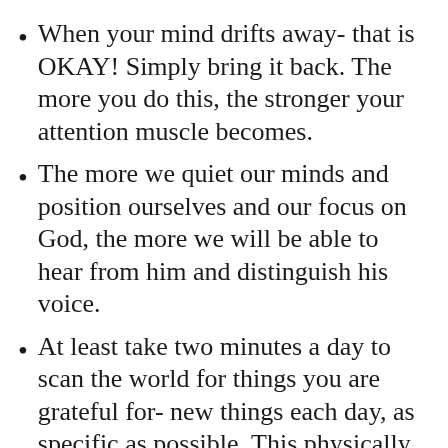When your mind drifts away- that is OKAY! Simply bring it back. The more you do this, the stronger your attention muscle becomes.
The more we quiet our minds and position ourselves and our focus on God, the more we will be able to hear from him and distinguish his voice.
At least take two minutes a day to scan the world for things you are grateful for- new things each day, as specific as possible. This physically rewires your brain, and sets the filter of what you notice each day. Since happiness is a learned skill, this is the